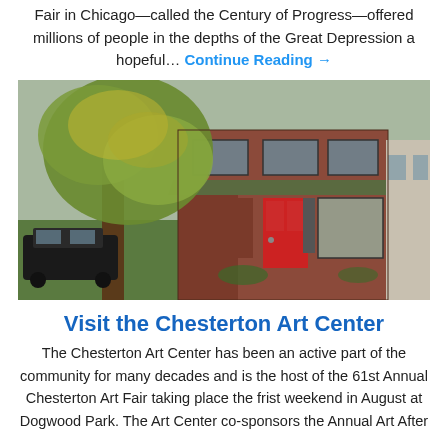Fair in Chicago—called the Century of Progress—offered millions of people in the depths of the Great Depression a hopeful… Continue Reading →
[Figure (photo): Exterior photograph of the Chesterton Art Center building, a two-story brick structure with a red door, green metal awning, large windows, and a large tree in front. A car is visible in the background on the left.]
Visit the Chesterton Art Center
The Chesterton Art Center has been an active part of the community for many decades and is the host of the 61st Annual Chesterton Art Fair taking place the frist weekend in August at Dogwood Park. The Art Center co-sponsors the Annual Art After...